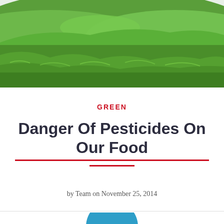[Figure (photo): Close-up photograph of lush green grass lawn from a low angle, showing rolling green turf against a light sky]
GREEN
Danger Of Pesticides On Our Food
by Team on November 25, 2014
[Figure (photo): Partial view of a circular blue avatar/icon at the bottom of the page]